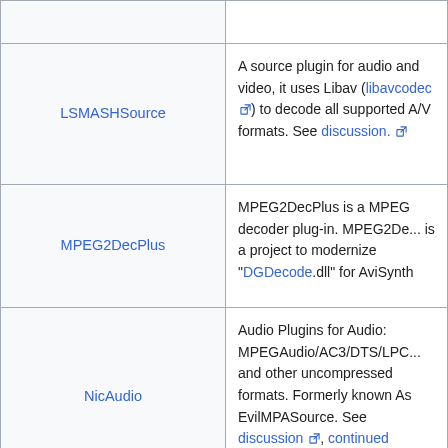| Plugin | Description |
| --- | --- |
|  |  |
| LSMASHSource | A source plugin for audio and video, it uses Libav (libavcodec) to decode all supported A/V formats. See discussion. |
| MPEG2DecPlus | MPEG2DecPlus is a MPEG decoder plug-in. MPEG2De... is a project to modernize "DGDecode.dll" for AviSynth |
| NicAudio | Audio Plugins for Audio: MPEGAudio/AC3/DTS/LPC... and other uncompressed formats. Formerly known As EvilMPASource. See discussion, continued discussion. |
| OmfSource | Opens the AVID OMF file fo... (video only, and only works... captured files). See discussion. |